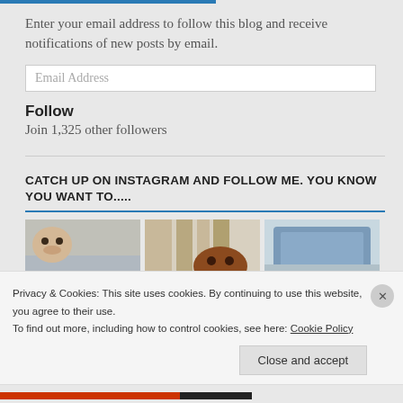Enter your email address to follow this blog and receive notifications of new posts by email.
Email Address
Follow
Join 1,325 other followers
CATCH UP ON INSTAGRAM AND FOLLOW ME. YOU KNOW YOU WANT TO.....
[Figure (photo): Three Instagram photo thumbnails: a dog on a beach/snowy scene, a brown dog peeking over something, and a blue couch/chair.]
Privacy & Cookies: This site uses cookies. By continuing to use this website, you agree to their use.
To find out more, including how to control cookies, see here: Cookie Policy
Close and accept